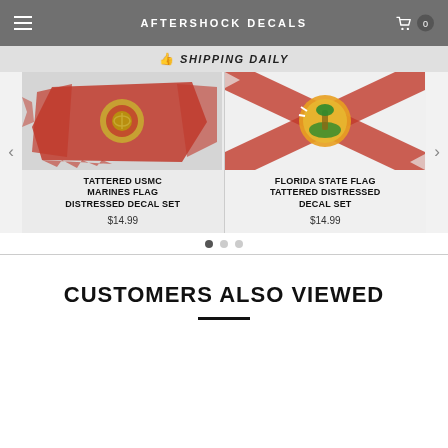AFTERSHOCK DECALS
SHIPPING DAILY
[Figure (photo): Tattered USMC Marines flag distressed decal on light grey background]
TATTERED USMC MARINES FLAG DISTRESSED DECAL SET
$14.99
[Figure (photo): Florida State flag tattered distressed decal on white background]
FLORIDA STATE FLAG TATTERED DISTRESSED DECAL SET
$14.99
CUSTOMERS ALSO VIEWED